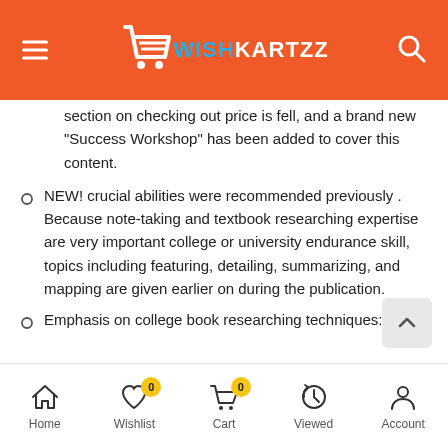WISHKARTZZ
section on checking out price is fell, and a brand new “Success Workshop” has been added to cover this content.
NEW! crucial abilities were recommended previously . Because note-taking and textbook researching expertise are very important college or university endurance skill, topics including featuring, detailing, summarizing, and mapping are given earlier on during the publication.
Emphasis on college book researching techniques:
Home  Wishlist  Cart  Viewed  Account